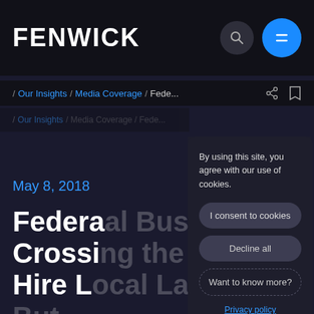FENWICK
/ Our Insights / Media Coverage / Fede...
/ Our Insights / Media Coverage / Fede...
By using this site, you agree with our use of cookies.
I consent to cookies
Decline all
Want to know more?
Privacy policy
May 8, 2018
Federal Business Crossing the Border? Hire Local Lawyers But Beware of Pitfalls